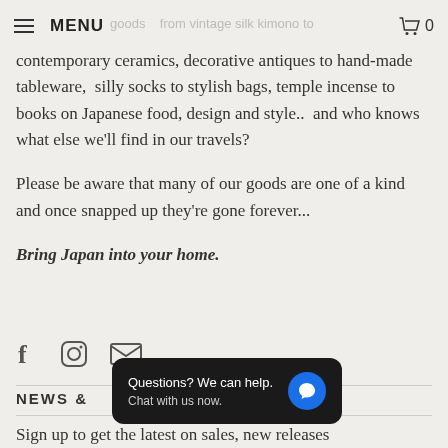MENU  0
contemporary ceramics, decorative antiques to hand-made tableware,  silly socks to stylish bags, temple incense to books on Japanese food, design and style..  and who knows what else we'll find in our travels?
Please be aware that many of our goods are one of a kind and once snapped up they're gone forever...
Bring Japan into your home.
[Figure (infographic): Social media icons: Facebook (f), Instagram (circle), Email (envelope)]
Questions? We can help.
Chat with us now.
NEWS &
Sign up to get the latest on sales, new releases